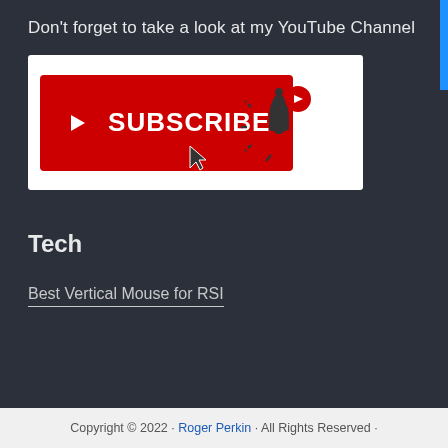Don’t forget to take a look at my YouTube Channel
[Figure (illustration): YouTube Subscribe button with bell notification icon and cursor arrow]
Tech
Best Vertical Mouse for RSI
Copyright © 2022 · Roger Perkin · All Rights Reserved ·